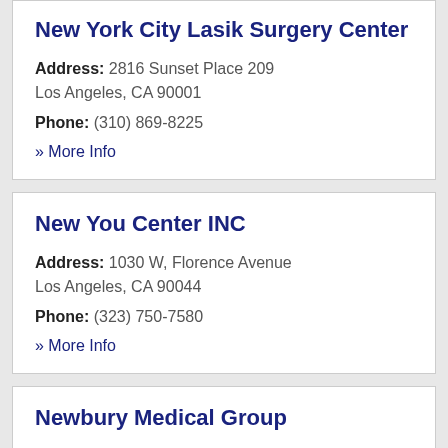New York City Lasik Surgery Center
Address: 2816 Sunset Place 209
Los Angeles, CA 90001
Phone: (310) 869-8225
» More Info
New You Center INC
Address: 1030 W, Florence Avenue
Los Angeles, CA 90044
Phone: (323) 750-7580
» More Info
Newbury Medical Group
Address: 3701 Stocker Street